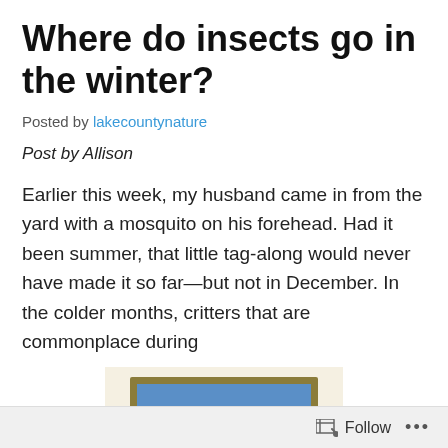Where do insects go in the winter?
Posted by lakecountynature
Post by Allison
Earlier this week, my husband came in from the yard with a mosquito on his forehead. Had it been summer, that little tag-along would never have made it so far—but not in December. In the colder months, critters that are commonplace during
[Figure (illustration): Cartoon illustration of a confused insect (bug) wearing a hat with a question mark above it, on a blue background with a gold/olive border, set on a light beige/cream background panel.]
Follow ...